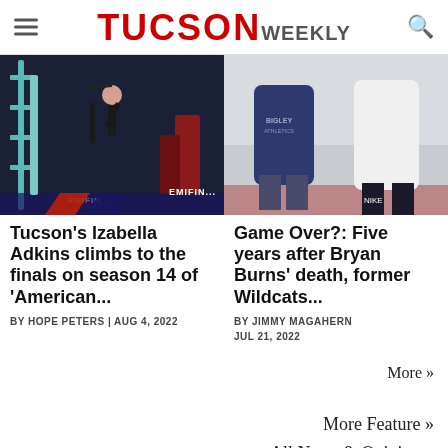TUCSON WEEKLY
[Figure (photo): Person on obstacle course hanging from apparatus at night, obstacle course semifinal setting with teal scaffolding and red padding]
[Figure (photo): Two people standing on a running track, one in navy blue Bigley hoodie and one in white long sleeve, viewed from torso down]
Tucson's Izabella Adkins climbs to the finals on season 14 of 'American...
BY HOPE PETERS | AUG 4, 2022
Game Over?: Five years after Bryan Burns' death, former Wildcats...
BY JIMMY MAGAHERN
JUL 21, 2022
More »
More Feature »
All News & Opinion »